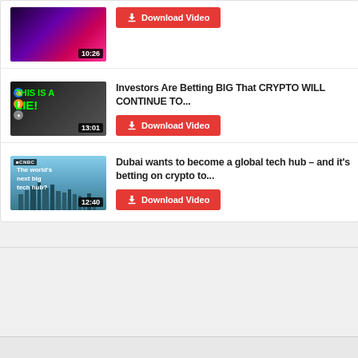[Figure (screenshot): Video thumbnail with purple/red gaming background, duration 10:26, with Download Video button below]
[Figure (screenshot): Video thumbnail showing man with 'THIS IS A LIE!' green text, duration 13:01]
Investors Are Betting BIG That CRYPTO WILL CONTINUE TO...
[Figure (screenshot): CNBC video thumbnail showing Dubai city skyline, text 'The world's next big tech hub?', duration 12:40]
Dubai wants to become a global tech hub – and it's betting on crypto to...